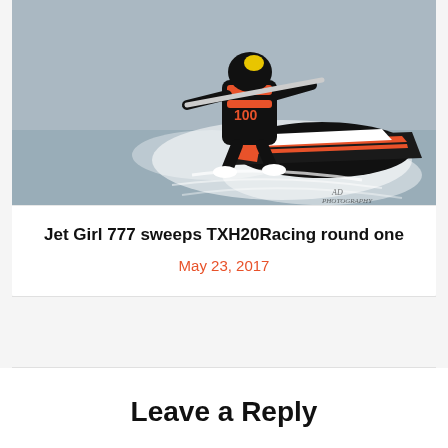[Figure (photo): Action photo of a jet ski racer wearing black and orange outfit with number 100, leaning aggressively on a stand-up jet ski with white water spray, watermark 'AD PHOTOGRAPHY' in bottom right corner]
Jet Girl 777 sweeps TXH20Racing round one
May 23, 2017
Leave a Reply